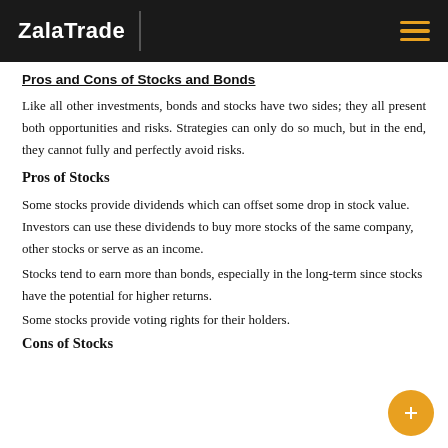ZalaTrade
Pros and Cons of Stocks and Bonds
Like all other investments, bonds and stocks have two sides; they all present both opportunities and risks. Strategies can only do so much, but in the end, they cannot fully and perfectly avoid risks.
Pros of Stocks
Some stocks provide dividends which can offset some drop in stock value. Investors can use these dividends to buy more stocks of the same company, other stocks or serve as an income.
Stocks tend to earn more than bonds, especially in the long-term since stocks have the potential for higher returns.
Some stocks provide voting rights for their holders.
Cons of Stocks